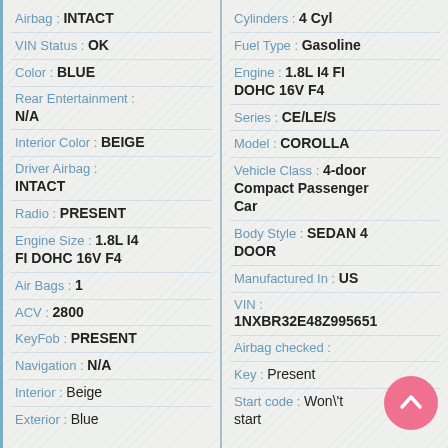Airbag : INTACT
VIN Status : OK
Color : BLUE
Rear Entertainment : N/A
Interior Color : BEIGE
Driver Airbag : INTACT
Radio : PRESENT
Engine Size : 1.8L I4 FI DOHC 16V F4
Air Bags : 1
ACV : 2800
KeyFob : PRESENT
Navigation : N/A
Interior : Beige
Exterior : Blue
Cylinders : 4 Cyl
Fuel Type : Gasoline
Engine : 1.8L I4 FI DOHC 16V F4
Series : CE/LE/S
Model : COROLLA
Vehicle Class : 4-door Compact Passenger Car
Body Style : SEDAN 4 DOOR
Manufactured In : US
VIN : 1NXBR32E48Z995651
Airbag checked :
Key : Present
Start code : Won\'t start